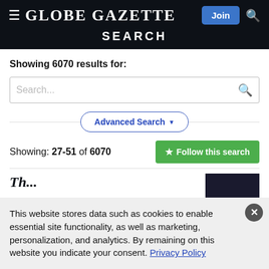Globe Gazette — SEARCH
Showing 6070 results for:
[Figure (screenshot): Search input box with placeholder text 'Search...' and a blue magnifying glass icon on the right]
Advanced Search ▼
Showing: 27-51 of 6070
★ Follow this search
This website stores data such as cookies to enable essential site functionality, as well as marketing, personalization, and analytics. By remaining on this website you indicate your consent. Privacy Policy